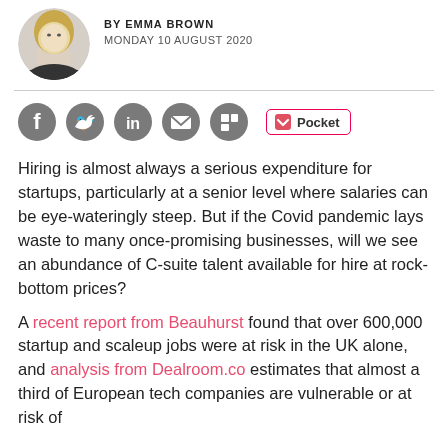[Figure (photo): Circular author headshot photo of a blonde woman]
BY EMMA BROWN
MONDAY 10 AUGUST 2020
[Figure (infographic): Social sharing icons: Facebook, Twitter, LinkedIn, Email, Flipboard, and a Pocket button]
Hiring is almost always a serious expenditure for startups, particularly at a senior level where salaries can be eye-wateringly steep. But if the Covid pandemic lays waste to many once-promising businesses, will we see an abundance of C-suite talent available for hire at rock-bottom prices?
A recent report from Beauhurst found that over 600,000 startup and scaleup jobs were at risk in the UK alone, and analysis from Dealroom.co estimates that almost a third of European tech companies are vulnerable or at risk of